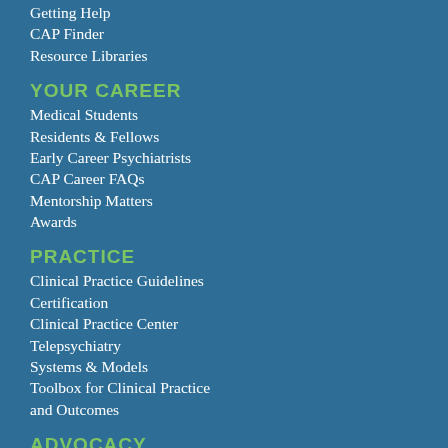Getting Help
CAP Finder
Resource Libraries
YOUR CAREER
Medical Students
Residents & Fellows
Early Career Psychiatrists
CAP Career FAQs
Mentorship Matters
Awards
PRACTICE
Clinical Practice Guidelines
Certification
Clinical Practice Center
Telepsychiatry
Systems & Models
Toolbox for Clinical Practice and Outcomes
ADVOCACY
How to Be an Advocate
Regulatory Issues
AACAP PAC